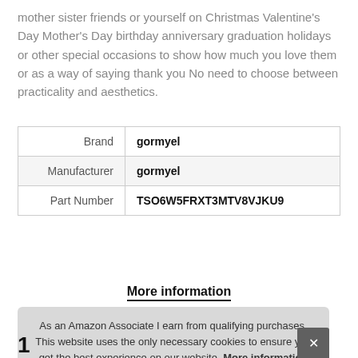mother sister friends or yourself on Christmas Valentine's Day Mother's Day birthday anniversary graduation holidays or other special occasions to show how much you love them or as a way of saying thank you No need to choose between practicality and aesthetics.
| Brand | gormyel |
| Manufacturer | gormyel |
| Part Number | TSO6W5FRXT3MTV8VJKU9 |
More information
As an Amazon Associate I earn from qualifying purchases. This website uses the only necessary cookies to ensure you get the best experience on our website. More information